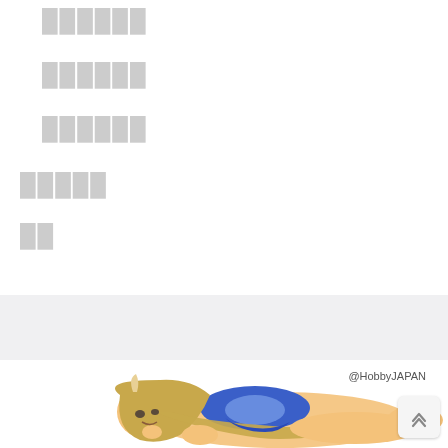██████
██████
██████
█████
██
[Figure (illustration): Anime-style illustration of a girl in a blue swimsuit lying down, with long brown hair and small horns. Watermark '@HobbyJAPAN' in upper right of image area.]
@HobbyJAPAN